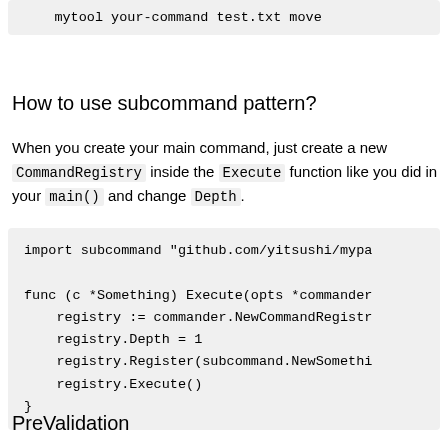[Figure (screenshot): Code block showing: mytool your-command test.txt move]
How to use subcommand pattern?
When you create your main command, just create a new CommandRegistry inside the Execute function like you did in your main() and change Depth.
[Figure (screenshot): Code block showing Go code: import subcommand, func (c *Something) Execute, registry := commander.NewCommandRegistry, registry.Depth = 1, registry.Register(subcommand.NewSomethi..., registry.Execute(), }]
PreValidation